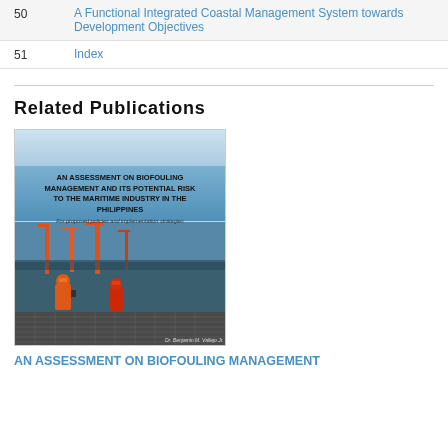| Page | Title |
| --- | --- |
| 50 | A Functional Integrated Coastal Management System towards Development Objectives |
| 51 | Index |
Related Publications
[Figure (photo): Book cover: AN ASSESSMENT ON BIOFOULING MANAGEMENT AND ITS POTENTIAL RISK TO THE MARITIME INDUSTRY IN THE PHILIPPINES - showing two workers in orange safety gear inspecting a ship hull at a port with cranes in the background]
AN ASSESSMENT ON BIOFOULING MANAGEMENT